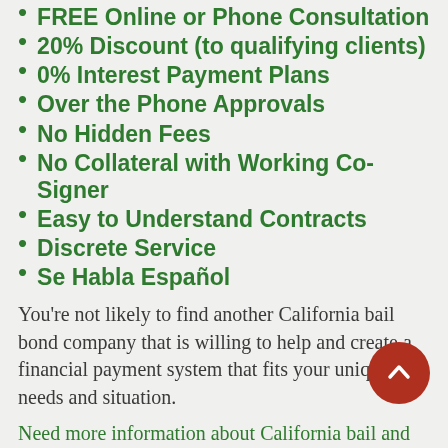FREE Online or Phone Consultation
20% Discount (to qualifying clients)
0% Interest Payment Plans
Over the Phone Approvals
No Hidden Fees
No Collateral with Working Co-Signer
Easy to Understand Contracts
Discrete Service
Se Habla Español
You're not likely to find another California bail bond company that is willing to help and create a financial payment system that fits your unique needs and situation.
Need more information about California bail and what Antioch Bail Bonds has to offer? Just call us at 925-228-5858 or click Talk To An